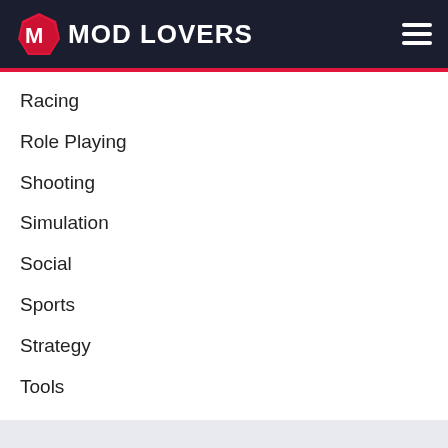MOD LOVERS
Racing
Role Playing
Shooting
Simulation
Social
Sports
Strategy
Tools
Video Player & Edit